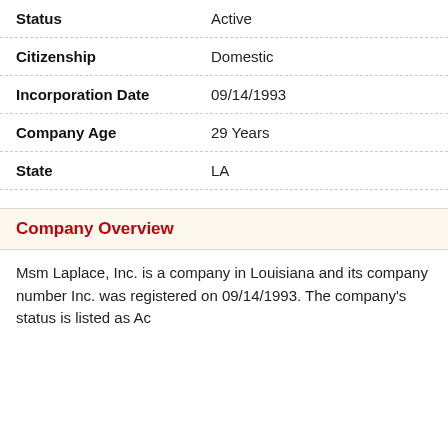| Field | Value |
| --- | --- |
| Status | Active |
| Citizenship | Domestic |
| Incorporation Date | 09/14/1993 |
| Company Age | 29 Years |
| State | LA |
Company Overview
Msm Laplace, Inc. is a company in Louisiana and its company number Inc. was registered on 09/14/1993. The company's status is listed as Ac